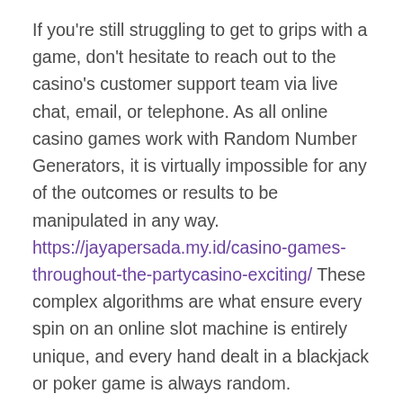If you're still struggling to get to grips with a game, don't hesitate to reach out to the casino's customer support team via live chat, email, or telephone. As all online casino games work with Random Number Generators, it is virtually impossible for any of the outcomes or results to be manipulated in any way. https://jayapersada.my.id/casino-games-throughout-the-partycasino-exciting/ These complex algorithms are what ensure every spin on an online slot machine is entirely unique, and every hand dealt in a blackjack or poker game is always random. Pennsylvania went live with online gambling in late 2019 and has turned into an online powerhouse. Like New Jersey, Pennsylvania legalized all forms of online casino gambling including slots, tables games, online poker, and sports betting. There, true